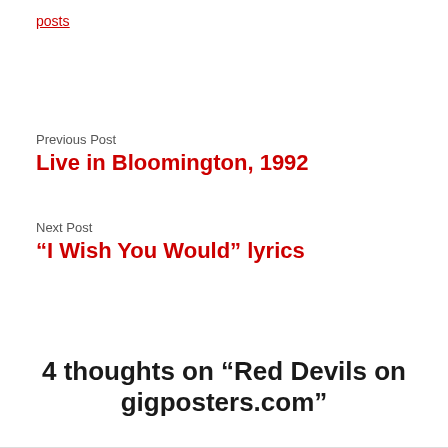posts
Previous Post
Live in Bloomington, 1992
Next Post
“I Wish You Would” lyrics
4 thoughts on “Red Devils on gigposters.com”